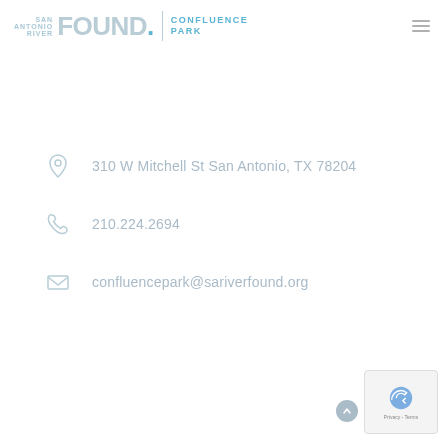SAN ANTONIO RIVER FOUND. CONFLUENCE PARK
310 W Mitchell St San Antonio, TX 78204
210.224.2694
confluencepark@sariverfound.org